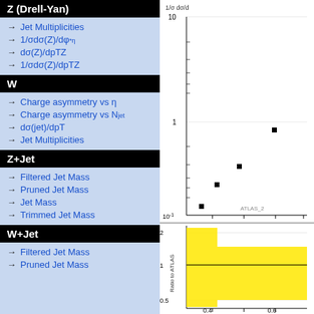Z (Drell-Yan)
Jet Multiplicities
1/σdσ(Z)/dφ*η
dσ(Z)/dpTZ
1/σdσ(Z)/dpTZ
W
Charge asymmetry vs η
Charge asymmetry vs Njet
dσ(jet)/dpT
Jet Multiplicities
Z+Jet
Filtered Jet Mass
Pruned Jet Mass
Jet Mass
Trimmed Jet Mass
W+Jet
Filtered Jet Mass
Pruned Jet Mass
[Figure (continuous-plot): Scatter plot on log scale showing 1/σ dσ/d(something) vs x-axis (0.4 to 0.6+). Data points (black squares) decrease then increase. Y-axis: 10 at top, 1 in middle, 10^-1 lower. Label 'ATLAS_2' visible. Lower panel shows Ratio to ATLAS with yellow band between ~0.4 and 2.0, x-axis 0.4 to 0.6.]